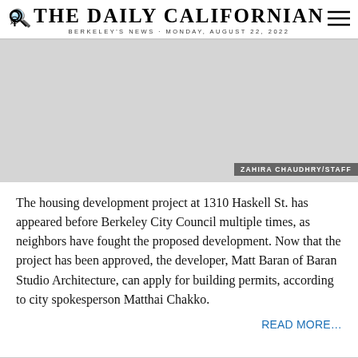THE DAILY CALIFORNIAN · BERKELEY'S NEWS · MONDAY, AUGUST 22, 2022
[Figure (photo): Photograph of the housing development project at 1310 Haskell St., credited to Zahira Chaudhry/Staff]
ZAHIRA CHAUDHRY/STAFF
The housing development project at 1310 Haskell St. has appeared before Berkeley City Council multiple times, as neighbors have fought the proposed development. Now that the project has been approved, the developer, Matt Baran of Baran Studio Architecture, can apply for building permits, according to city spokesperson Matthai Chakko.
READ MORE…